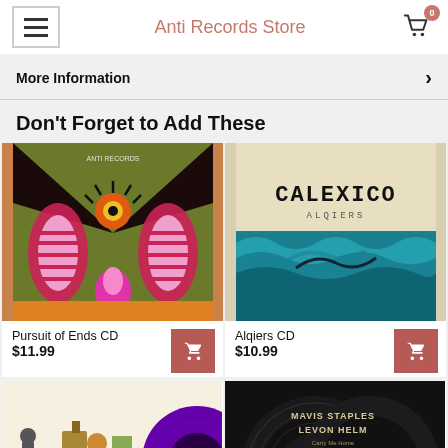Anti Records Store
More Information
Don't Forget to Add These
[Figure (photo): Pursuit of Ends CD album cover — psychedelic art with a large eye, mountains, and vibrant pink/red/orange palette]
Pursuit of Ends CD
$11.99
[Figure (photo): Alqiers CD album cover — Calexico brand with teal wave/ocean illustration on cream background]
Alqiers CD
$10.99
[Figure (photo): Partial view of an album with purple vinyl disc visible, illustrated cover with characters]
[Figure (photo): Partial view of Mavis Staples / Levon Helm album — black cover with two dark vinyl records visible]